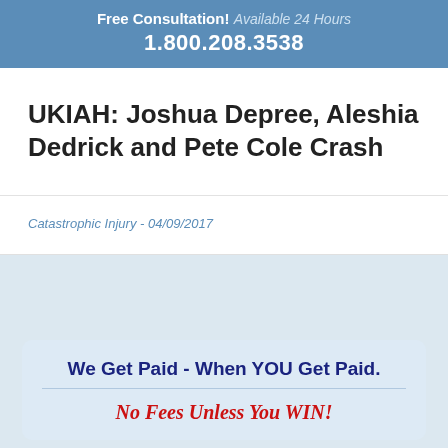Free Consultation! Available 24 Hours 1.800.208.3538
UKIAH: Joshua Depree, Aleshia Dedrick and Pete Cole Crash
Catastrophic Injury - 04/09/2017
We Get Paid - When YOU Get Paid.
No Fees Unless You WIN!